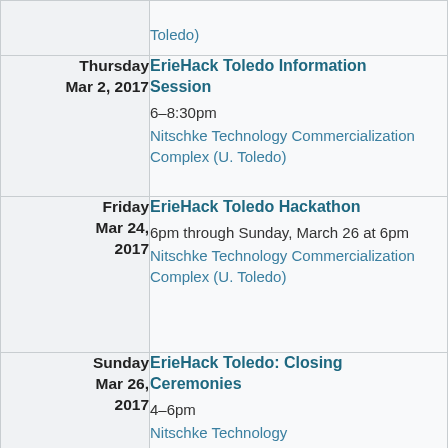| Date | Event |
| --- | --- |
|  | Toledo) |
| Thursday
Mar 2, 2017 | ErieHack Toledo Information Session
6–8:30pm
Nitschke Technology Commercialization Complex (U. Toledo) |
| Friday
Mar 24, 2017 | ErieHack Toledo Hackathon
6pm through Sunday, March 26 at 6pm
Nitschke Technology Commercialization Complex (U. Toledo) |
| Sunday
Mar 26, 2017 | ErieHack Toledo: Closing Ceremonies
4–6pm
Nitschke Technology |